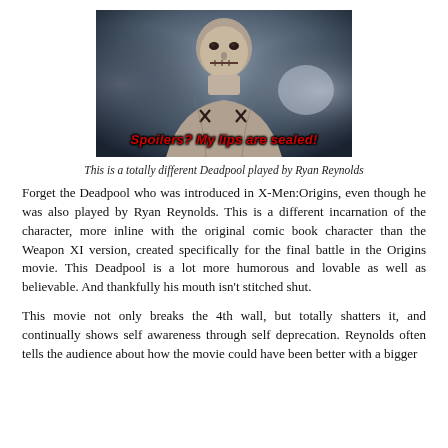[Figure (photo): A disfigured bald character (Deadpool/Weapon XI from X-Men Origins) with stitched mouth and markings on chest, with overlaid red bold italic text: 'Spoilers? My lips are sealed!']
This is a totally different Deadpool played by Ryan Reynolds
Forget the Deadpool who was introduced in X-Men:Origins, even though he was also played by Ryan Reynolds. This is a different incarnation of the character, more inline with the original comic book character than the Weapon XI version, created specifically for the final battle in the Origins movie. This Deadpool is a lot more humorous and lovable as well as believable. And thankfully his mouth isn't stitched shut.
This movie not only breaks the 4th wall, but totally shatters it, and continually shows self awareness through self deprecation. Reynolds often tells the audience about how the movie could have been better with a bigger